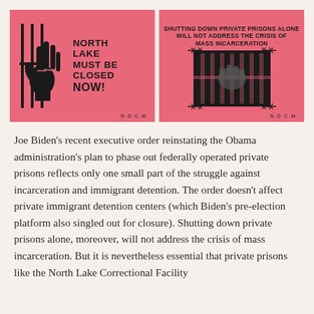[Figure (illustration): Two pink activist posters side by side. Left poster: hand reaching through prison bars with text 'NORTH LAKE MUST BE CLOSED NOW!' and 'N.D.C.M.' Right poster: text 'SHUTTING DOWN PRIVATE PRISONS ALONE WILL NOT ADDRESS THE CRISIS OF MASS INCARCERATION' with an image of prison bars and 'N.D.C.M.']
Joe Biden's recent executive order reinstating the Obama administration's plan to phase out federally operated private prisons reflects only one small part of the struggle against incarceration and immigrant detention. The order doesn't affect private immigrant detention centers (which Biden's pre-election platform also singled out for closure). Shutting down private prisons alone, moreover, will not address the crisis of mass incarceration. But it is nevertheless essential that private prisons like the North Lake Correctional Facility